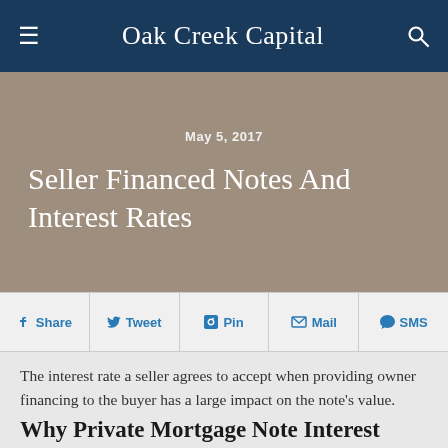Oak Creek Capital
May 5, 2017
Seller Financed Notes And Interest Rates
Share  Tweet  Pin  Mail  SMS
The interest rate a seller agrees to accept when providing owner financing to the buyer has a large impact on the note's value. Unfortunately, many sellers overlook this important decision.
Why Private Mortgage Note Interest Rates Matter